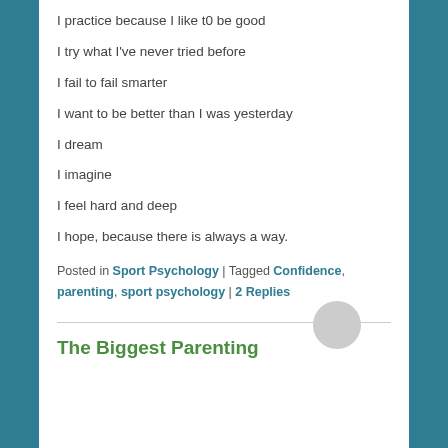I practice because I like t0 be good
I try what I've never tried before
I fail to fail smarter
I want to be better than I was yesterday
I dream
I imagine
I feel hard and deep
I hope, because there is always a way.
Posted in Sport Psychology | Tagged Confidence, parenting, sport psychology | 2 Replies
The Biggest Parenting